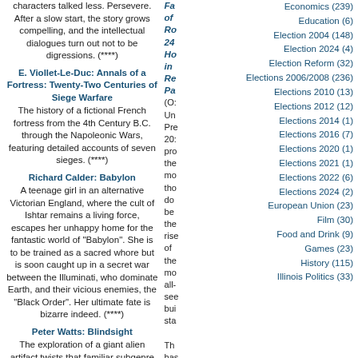characters talked less. Persevere. After a slow start, the story grows compelling, and the intellectual dialogues turn out not to be digressions. (****)
E. Viollet-Le-Duc: Annals of a Fortress: Twenty-Two Centuries of Siege Warfare
The history of a fictional French fortress from the 4th Century B.C. through the Napoleonic Wars, featuring detailed accounts of seven sieges. (****)
Richard Calder: Babylon
A teenage girl in an alternative Victorian England, where the cult of Ishtar remains a living force, escapes her unhappy home for the fantastic world of "Babylon". She is to be trained as a sacred whore but is soon caught up in a secret war between the Illuminati, who dominate Earth, and their vicious enemies, the "Black Order". Her ultimate fate is bizarre indeed. (****)
Peter Watts: Blindsight
The exploration of a giant alien artifact twists that familiar subgenre with a plausible, though ultimately unconvincing,
Economics (239)
Education (6)
Election 2004 (148)
Election 2024 (4)
Election Reform (32)
Elections 2006/2008 (236)
Elections 2010 (13)
Elections 2012 (12)
Elections 2014 (1)
Elections 2016 (7)
Elections 2020 (1)
Elections 2021 (1)
Elections 2022 (6)
Elections 2024 (2)
European Union (23)
Film (30)
Food and Drink (9)
Games (23)
History (115)
Illinois Politics (33)